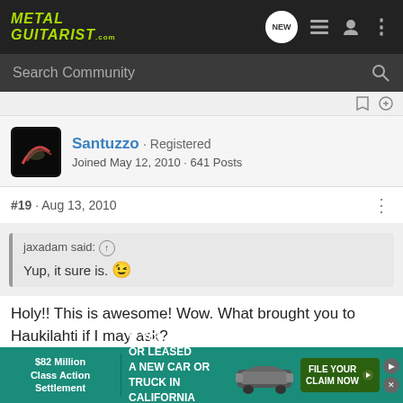METAL GUITARIST.com
Search Community
Santuzzo · Registered
Joined May 12, 2010 · 641 Posts
#19 · Aug 13, 2010
jaxadam said: ↑
Yup, it sure is. 😉
Holy!! This is awesome! Wow. What brought you to Haukilahti if I may ask?
Did you just go to Finland on vacation?
[Figure (screenshot): Advertisement banner: $82 Million Class Action Settlement - IF YOU BOUGHT OR LEASED A NEW CAR OR TRUCK IN CALIFORNIA FROM 2001 - 2003 - FILE YOUR CLAIM NOW]